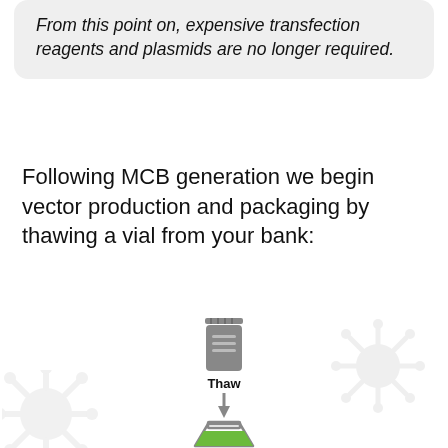From this point on, expensive transfection reagents and plasmids are no longer required.
Following MCB generation we begin vector production and packaging by thawing a vial from your bank:
[Figure (infographic): A flowchart showing a frozen vial (labeled 'Thaw') with a downward arrow leading to an Erlenmeyer flask with green liquid, flanked by ghost/watermark viral vector icons on left and right.]